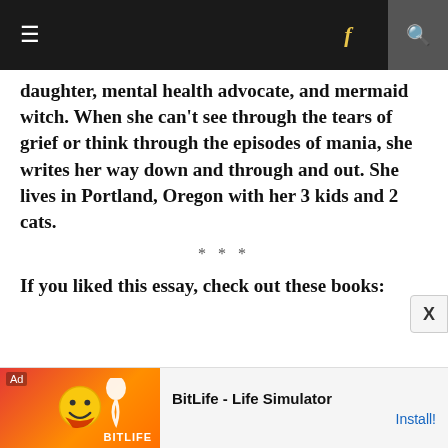Navigation bar with menu, Facebook link, and search icon
daughter, mental health advocate, and mermaid witch. When she can’t see through the tears of grief or think through the episodes of mania, she writes her way down and through and out. She lives in Portland, Oregon with her 3 kids and 2 cats.
***
If you liked this essay, check out these books:
[Figure (screenshot): Advertisement banner for BitLife - Life Simulator app with orange/red background, smiley face graphic, and Install! button]